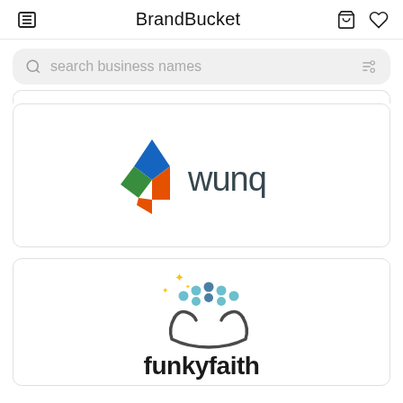BrandBucket
[Figure (screenshot): Search bar with placeholder text 'search business names' and filter icon]
[Figure (logo): Wunq logo — colorful diamond/kite shape icon with blue, green, orange segments next to the word 'wunq' in dark gray sans-serif]
[Figure (logo): FunkyFaith logo — teal/blue dots with raised hands icon above the text 'funkyfaith' in bold dark font with yellow star sparkles]